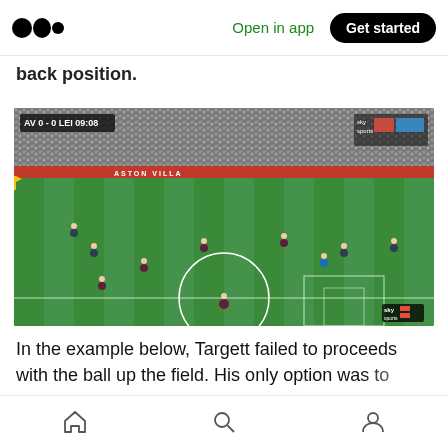Open in app | Get started
back position.
[Figure (screenshot): Screenshot of a football match broadcast showing Aston Villa vs Leicester City, score 0-0 at 09:08, aerial view of the pitch with players in position. The Aston Villa stadium with crowd visible. Sky Sports watermark visible in bottom right.]
In the example below, Targett failed to proceeds with the ball up the field. His only option was to
Home | Search | Profile